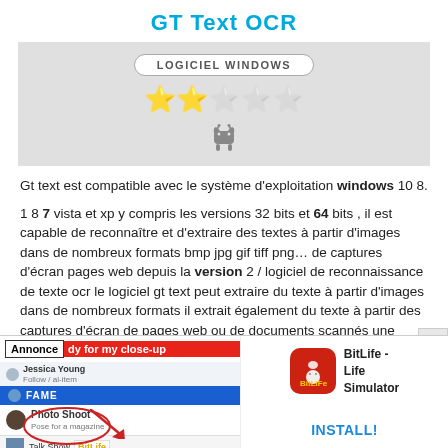GT Text OCR
[Figure (screenshot): Gray box with 'LOGICIEL WINDOWS' badge, 2-star rating out of 5, and Android robot icon]
Gt text est compatible avec le système d'exploitation windows 10 8.
1 8 7 vista et xp y compris les versions 32 bits et 64 bits , il est capable de reconnaître et d'extraire des textes à partir d'images dans de nombreux formats bmp jpg gif tiff png… de captures d'écran pages web depuis la version 2 / logiciel de reconnaissance de texte ocr le logiciel gt text peut extraire du texte à partir d'images dans de nombreux formats il extrait également du texte à partir des captures d'écran de pages web ou de documents scannés une solution rapide intuitive et gratuite | gt text est un logiciel de
[Figure (screenshot): Advertisement banner at bottom: left side shows 'Annonce' label with red 'dy for my close-up' BitLife game ad showing Jessica Young, FAME menu, Photo Shoot option circled with red arrow; right side shows BitLife - Life Simulator icon with INSTALL button]